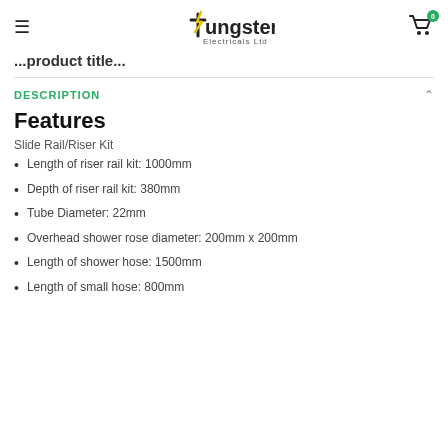Tungsten Electricals Ltd
...product title...
DESCRIPTION
Features
Slide Rail/Riser Kit
Length of riser rail kit: 1000mm
Depth of riser rail kit: 380mm
Tube Diameter: 22mm
Overhead shower rose diameter: 200mm x 200mm
Length of shower hose: 1500mm
Length of small hose: 800mm